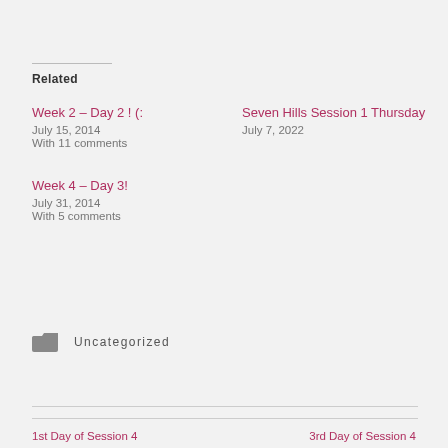Related
Week 2 – Day 2 ! (:
July 15, 2014
With 11 comments
Seven Hills Session 1 Thursday
July 7, 2022
Week 4 – Day 3!
July 31, 2014
With 5 comments
Uncategorized
1st Day of Session 4
3rd Day of Session 4